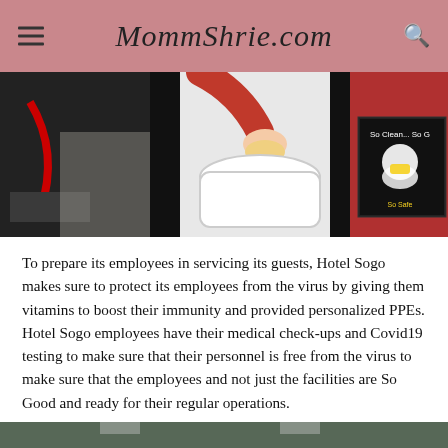MommShrie.com
[Figure (photo): Composite photo showing hotel cleaning/sanitation scenes: person cleaning with a hose, person wiping a toilet seat, red interior space, and a 'So Clean So Good So Safe' sign with a chef mascot wearing a mask.]
To prepare its employees in servicing its guests, Hotel Sogo makes sure to protect its employees from the virus by giving them vitamins to boost their immunity and provided personalized PPEs. Hotel Sogo employees have their medical check-ups and Covid19 testing to make sure that their personnel is free from the virus to make sure that the employees and not just the facilities are So Good and ready for their regular operations.
[Figure (photo): Bottom banner showing a canteen interior with large white bold text overlay reading 'ogo Corporate Canteen' (Hotel Sogo Corporate Canteen).]